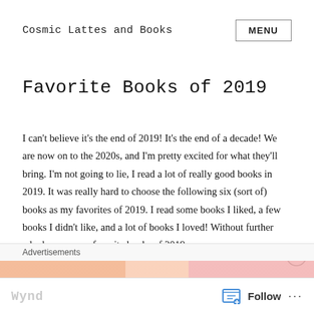Cosmic Lattes and Books   MENU
Favorite Books of 2019
I can't believe it's the end of 2019! It's the end of a decade! We are now on to the 2020s, and I'm pretty excited for what they'll bring. I'm not going to lie, I read a lot of really good books in 2019. It was really hard to choose the following six (sort of) books as my favorites of 2019. I read some books I liked, a few books I didn't like, and a lot of books I loved! Without further ado, here are my favorite books of 2019:
Advertisements
Follow  ...